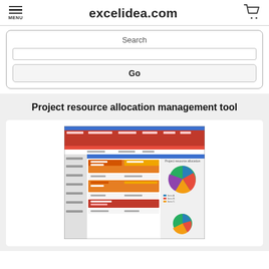excelidea.com
Search
Project resource allocation management tool
[Figure (screenshot): Screenshot of a project resource allocation management tool Excel spreadsheet showing red header rows, orange allocation panels, and pie charts on the right side.]